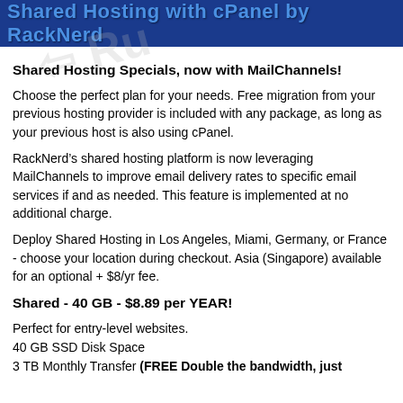Shared Hosting with cPanel by RackNerd
Shared Hosting Specials, now with MailChannels!
Choose the perfect plan for your needs. Free migration from your previous hosting provider is included with any package, as long as your previous host is also using cPanel.
RackNerd’s shared hosting platform is now leveraging MailChannels to improve email delivery rates to specific email services if and as needed. This feature is implemented at no additional charge.
Deploy Shared Hosting in Los Angeles, Miami, Germany, or France - choose your location during checkout. Asia (Singapore) available for an optional + $8/yr fee.
Shared - 40 GB - $8.89 per YEAR!
Perfect for entry-level websites.
40 GB SSD Disk Space
3 TB Monthly Transfer (FREE Double the bandwidth, just contact us to get it)